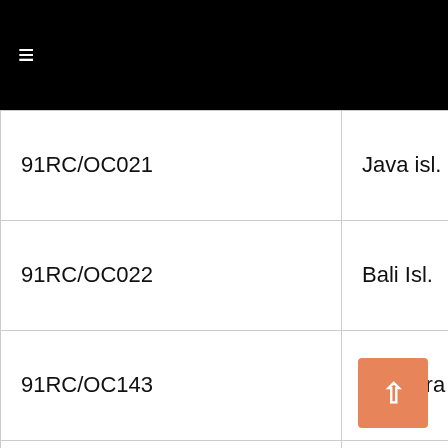≡
| ID | Location | Country | Details |
| --- | --- | --- | --- |
| 91RC/OC021 | Java isl. | Indonesia |  |
| 91RC/OC022 | Bali Isl. | Indonesia |  |
| 91RC/OC143 | Sumatra Isl. | Indonesia |  |
| 91RC/OC150 | Lombock isl. | Indonesia |  |
|  | North Al. |  |  |